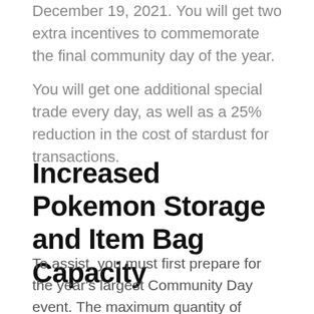December 19, 2021. You will get two extra incentives to commemorate the final community day of the year.
You will get one additional special trade every day, as well as a 25% reduction in the cost of stardust for transactions.
Increased Pokemon Storage and Item Bag Capacity
To assist, you must first prepare for the year's largest Community Day event. The maximum quantity of Pokemon storage and Item Bag that should be enlarged should be raised. You must buy an Item Bag and Pokemon Storage expansions from the store. You'll need to replenish your